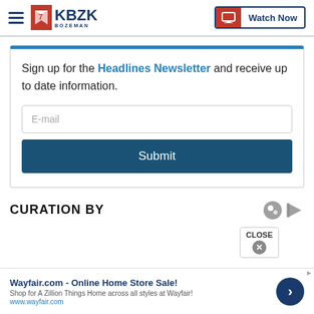KBZK BOZEMAN | Watch Now
Sign up for the Headlines Newsletter and receive up to date information.
E-mail
Submit
CURATION BY
Wayfair.com - Online Home Store Sale! Shop for A Zillion Things Home across all styles at Wayfair! www.wayfair.com